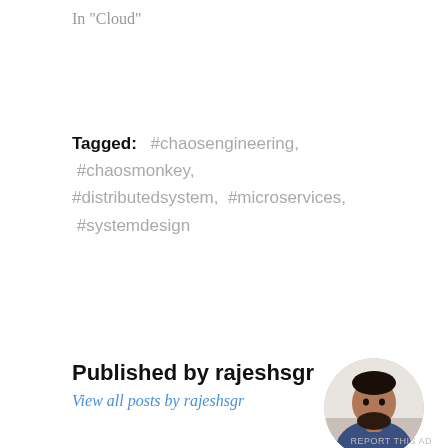In "Cloud"
Tagged: #chaosengineering, #chaosmonkey, #distributedsystem, #microservices, #systemdesign
Published by rajeshsgr
View all posts by rajeshsgr
[Figure (photo): Circular avatar photo of a bearded man in a dark blue t-shirt]
< Service virtualization with spring boot microservices
Advertisements
REPORT THIS AD